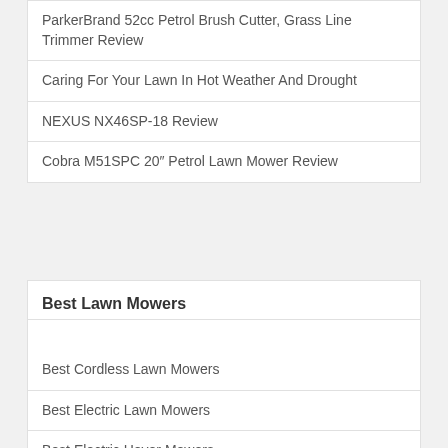ParkerBrand 52cc Petrol Brush Cutter, Grass Line Trimmer Review
Caring For Your Lawn In Hot Weather And Drought
NEXUS NX46SP-18 Review
Cobra M51SPC 20″ Petrol Lawn Mower Review
Best Lawn Mowers
Best Cordless Lawn Mowers
Best Electric Lawn Mowers
Best Electric Hover Mowers